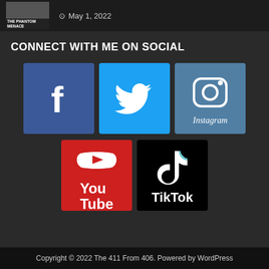THE PHANTOM MENACE   May 1, 2022
CONNECT WITH ME ON SOCIAL
[Figure (logo): Social media icons: Facebook, Twitter, Instagram, YouTube, TikTok]
Copyright © 2022 The 411 From 406. Powered by WordPress